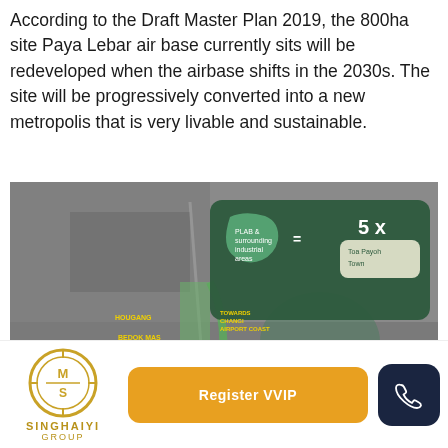According to the Draft Master Plan 2019, the 800ha site Paya Lebar air base currently sits will be redeveloped when the airbase shifts in the 2030s. The site will be progressively converted into a new metropolis that is very livable and sustainable.
[Figure (map): Aerial map of Paya Lebar air base and surrounding area with overlaid annotations showing: PLAB & surrounding industrial areas equals 5x Toa Payoh Town, Commercial hub with jobs and amenities for future residents and employees, Improving Connectivity across towns, directional labels for HOUGANG, PASIR RIS, BEDOK MAS, TAMPINES, TOWARDS CHANGI, AIRPORT COAST, and green corridor highlighting.]
[Figure (logo): SingHaiyi Group logo - circular gold emblem with stylized letters, company name SINGHAIYI GROUP in gold]
Register VVIP